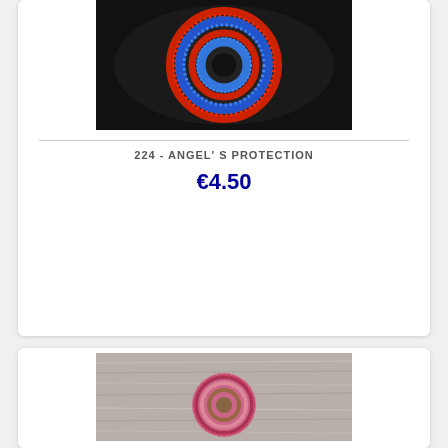[Figure (photo): A circular embroidered or beaded patch/brooch with concentric rings of blue and red thread on a black background]
224 - ANGEL' S PROTECTION
€4.50
[Figure (photo): A circular embroidered or decorated brooch with pink/red tones placed on a grey furry fabric background]